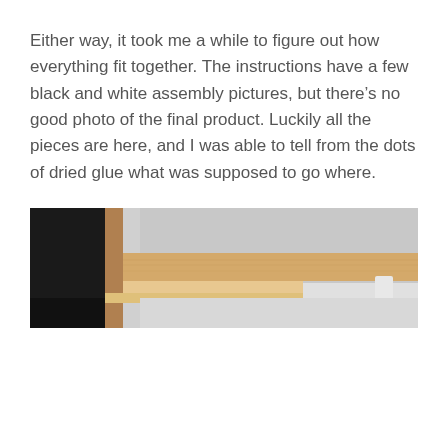Either way, it took me a while to figure out how everything fit together. The instructions have a few black and white assembly pictures, but there's no good photo of the final product. Luckily all the pieces are here, and I was able to tell from the dots of dried glue what was supposed to go where.
[Figure (photo): A photograph showing wooden furniture assembly components — a dark black panel on the left, light natural wood particle board pieces in the center, and a light grey wall background on the right. A small white object is visible in the far right.]